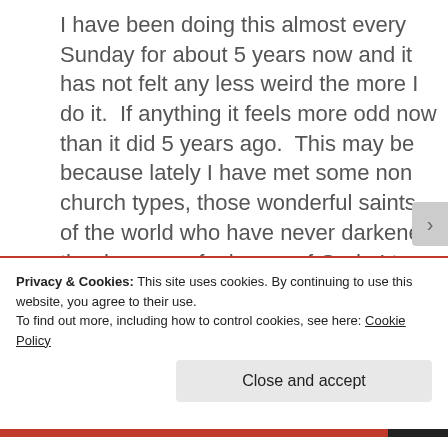I have been doing this almost every Sunday for about 5 years now and it has not felt any less weird the more I do it. If anything it feels more odd now than it did 5 years ago. This may be because lately I have met some non church types, those wonderful saints of the world who have never darkened the doorway of a house of God. I try to explain to them the process of preparing and delivering a sermon and that there is a group of people willing to pay me money to do this. Their bewildered expressions confirm one thing,
Privacy & Cookies: This site uses cookies. By continuing to use this website, you agree to their use. To find out more, including how to control cookies, see here: Cookie Policy
Close and accept